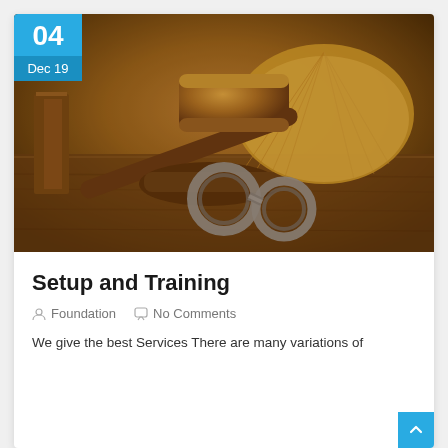[Figure (photo): Photograph of a judge's gavel resting on a wooden sound block alongside handcuffs and an open law book with fanned pages, on a wooden surface. Warm amber/brown tones.]
Setup and Training
Foundation   No Comments
We give the best Services There are many variations of